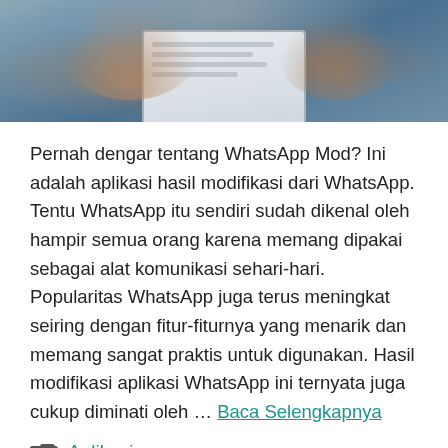[Figure (photo): Hands holding a smartphone, showing a WhatsApp or messaging app screen, against a blurred teal/blue background.]
Pernah dengar tentang WhatsApp Mod? Ini adalah aplikasi hasil modifikasi dari WhatsApp. Tentu WhatsApp itu sendiri sudah dikenal oleh hampir semua orang karena memang dipakai sebagai alat komunikasi sehari-hari. Popularitas WhatsApp juga terus meningkat seiring dengan fitur-fiturnya yang menarik dan memang sangat praktis untuk digunakan. Hasil modifikasi aplikasi WhatsApp ini ternyata juga cukup diminati oleh … Baca Selengkapnya
Aplikasi